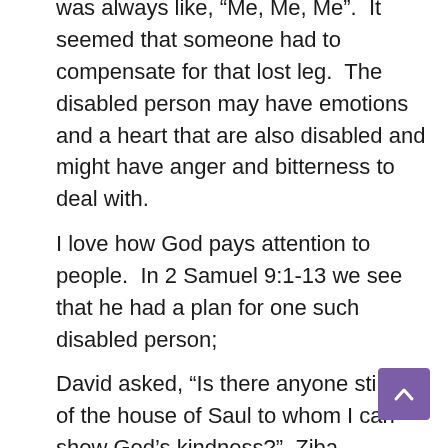was always like, “Me, Me, Me”.  It seemed that someone had to compensate for that lost leg.  The disabled person may have emotions and a heart that are also disabled and might have anger and bitterness to deal with.
I love how God pays attention to people.  In 2 Samuel 9:1-13 we see that he had a plan for one such disabled person;
David asked, “Is there anyone still left of the house of Saul to whom I can show God’s kindness?”  Ziba answered the king, “There is still a son of Jonathan; he is lame in both feet.”... When Mephibosheth son of Jonathan, the son of Saul, came to David, he bowed down to pay him honor...“Don’t be afraid,” David said to him, “for I will surely show you